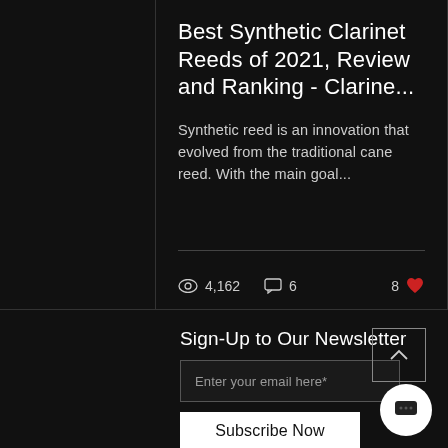Best Synthetic Clarinet Reeds of 2021, Review and Ranking - Clarine...
Synthetic reed is an innovation that evolved from the traditional cane reed. With the main goal...
4,162 views  6 comments  8 likes
Sign-Up to Our Newsletter
Enter your email here*
Subscribe Now